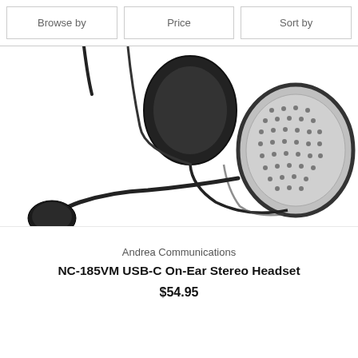Browse by | Price | Sort by
[Figure (photo): Close-up photo of a black and silver on-ear stereo headset with a flexible boom microphone extending from the left ear cup. The right ear cup has a silver perforated metal speaker grille. The headset is partially cropped at the top.]
Andrea Communications
NC-185VM USB-C On-Ear Stereo Headset
$54.95